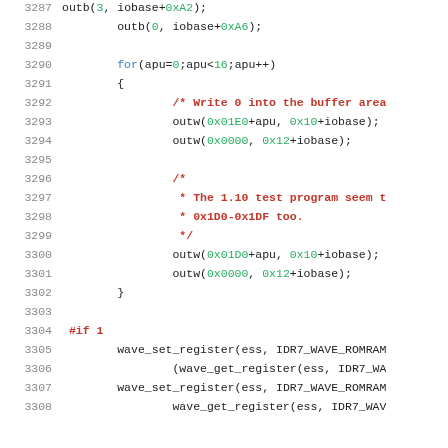[Figure (screenshot): Source code listing in C showing lines 3287-3308 with syntax highlighting. Line numbers in gray on left, code with colored syntax (blue keywords, green hex/numbers, dark red comments and preprocessor directives).]